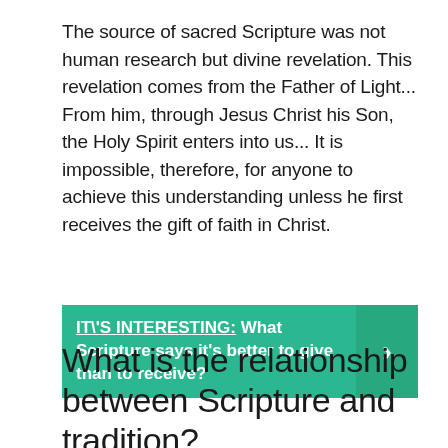The source of sacred Scripture was not human research but divine revelation. This revelation comes from the Father of Light... From him, through Jesus Christ his Son, the Holy Spirit enters into us... It is impossible, therefore, for anyone to achieve this understanding unless he first receives the gift of faith in Christ.
[Figure (infographic): Teal banner with text: IT\'S INTERESTING: What Scripture says it's better to give than to receive? with a right-arrow chevron on the right side.]
What is the relationship between Scripture and tradition?